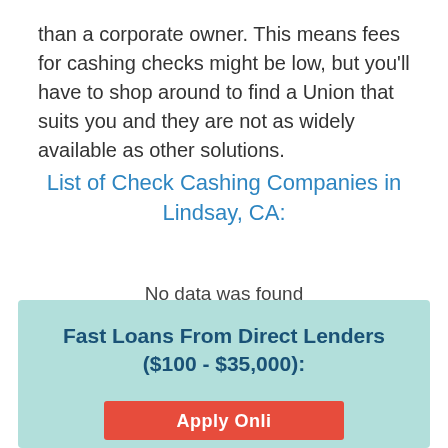than a corporate owner. This means fees for cashing checks might be low, but you'll have to shop around to find a Union that suits you and they are not as widely available as other solutions.
List of Check Cashing Companies in Lindsay, CA:
No data was found
Fast Loans From Direct Lenders ($100 - $35,000):